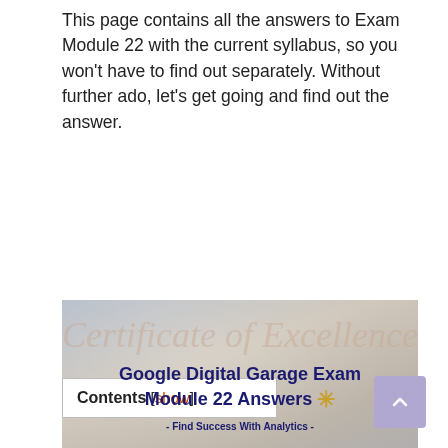This page contains all the answers to Exam Module 22 with the current syllabus, so you won't have to find out separately. Without further ado, let's get going and find out the answer.
[Figure (illustration): A graduation photo banner with a diploma scroll tied with a red bow, a student in graduation cap seen from behind. Text overlay: 'Google Digital Garage Exam Module 22 Answers - Find Success With Analytics -'. Watermark: Thehypeguy.com]
Contents [show]